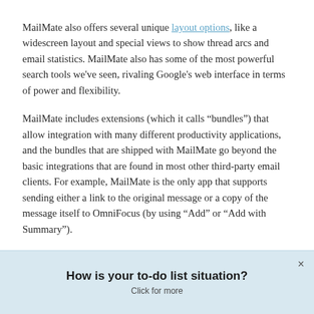MailMate also offers several unique layout options, like a widescreen layout and special views to show thread arcs and email statistics. MailMate also has some of the most powerful search tools we've seen, rivaling Google's web interface in terms of power and flexibility.
MailMate includes extensions (which it calls “bundles”) that allow integration with many different productivity applications, and the bundles that are shipped with MailMate go beyond the basic integrations that are found in most other third-party email clients. For example, MailMate is the only app that supports sending either a link to the original message or a copy of the message itself to OmniFocus (by using “Add” or “Add with Summary”).
How is your to-do list situation?
Click for more